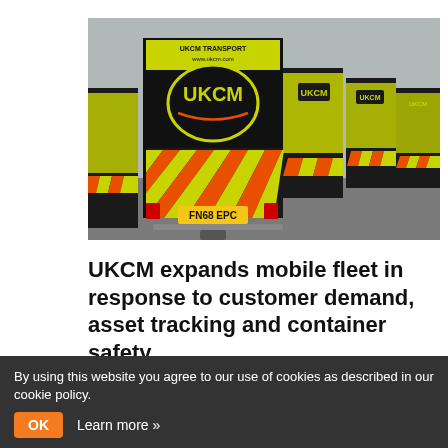[Figure (photo): A row of black vans with high-visibility yellow and red chevron markings and UKCM logos on the rear, parked in a yard on a grey overcast day. The nearest van shows a UK yellow number plate reading FN68 EPC.]
UKCM expands mobile fleet in response to customer demand, asset tracking and container safety
By using this website you agree to our use of cookies as described in our cookie policy.
OK   Learn more »